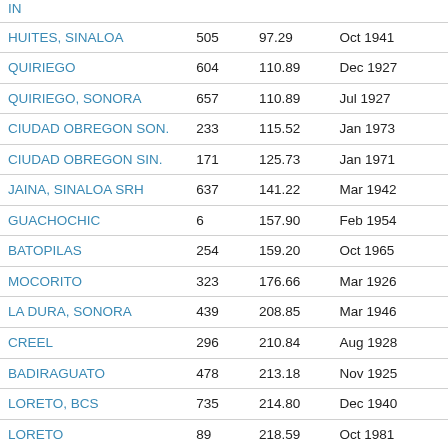| IN |  |  |  |
| --- | --- | --- | --- |
| HUITES, SINALOA | 505 | 97.29 | Oct 1941 |
| QUIRIEGO | 604 | 110.89 | Dec 1927 |
| QUIRIEGO, SONORA | 657 | 110.89 | Jul 1927 |
| CIUDAD OBREGON SON. | 233 | 115.52 | Jan 1973 |
| CIUDAD OBREGON SIN. | 171 | 125.73 | Jan 1971 |
| JAINA, SINALOA SRH | 637 | 141.22 | Mar 1942 |
| GUACHOCHIC | 6 | 157.90 | Feb 1954 |
| BATOPILAS | 254 | 159.20 | Oct 1965 |
| MOCORITO | 323 | 176.66 | Mar 1926 |
| LA DURA, SONORA | 439 | 208.85 | Mar 1946 |
| CREEL | 296 | 210.84 | Aug 1928 |
| BADIRAGUATO | 478 | 213.18 | Nov 1925 |
| LORETO, BCS | 735 | 214.80 | Dec 1940 |
| LORETO | 89 | 218.59 | Oct 1981 |